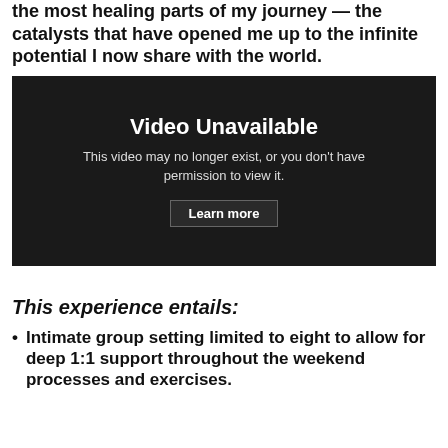the most healing parts of my journey — the catalysts that have opened me up to the infinite potential I now share with the world.
[Figure (screenshot): Embedded video player showing 'Video Unavailable' message. Text reads: 'Video Unavailable — This video may no longer exist, or you don't have permission to view it. Learn more']
This experience entails:
Intimate group setting limited to eight to allow for deep 1:1 support throughout the weekend processes and exercises.